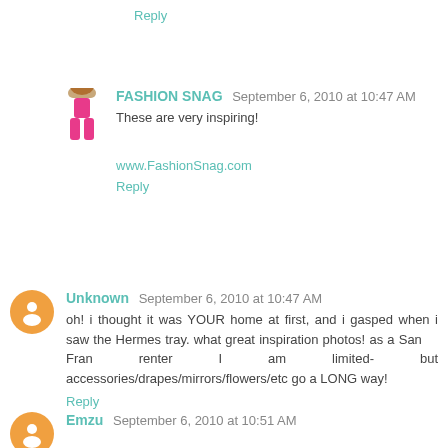Reply
FASHION SNAG September 6, 2010 at 10:47 AM
These are very inspiring!
www.FashionSnag.com
Reply
Unknown September 6, 2010 at 10:47 AM
oh! i thought it was YOUR home at first, and i gasped when i saw the Hermes tray. what great inspiration photos! as a San Fran renter I am limited- but accessories/drapes/mirrors/flowers/etc go a LONG way!
Reply
Emzu September 6, 2010 at 10:51 AM